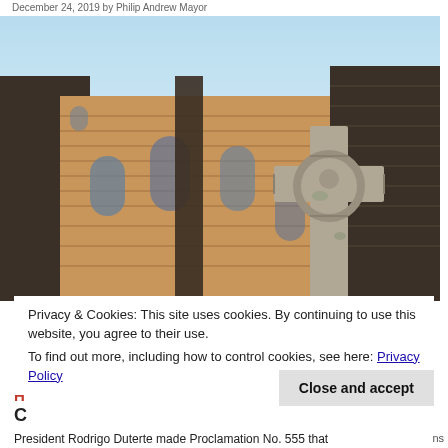December 24, 2019 by Philip Andrew Mayor
[Figure (photo): A stone Celtic cross in the foreground with a historic stone church building in the background against a light blue sky.]
Privacy & Cookies: This site uses cookies. By continuing to use this website, you agree to their use.
To find out more, including how to control cookies, see here: Privacy Policy
Close and accept
H
C
President Rodrigo Duterte made Proclamation No. 555 that
ns